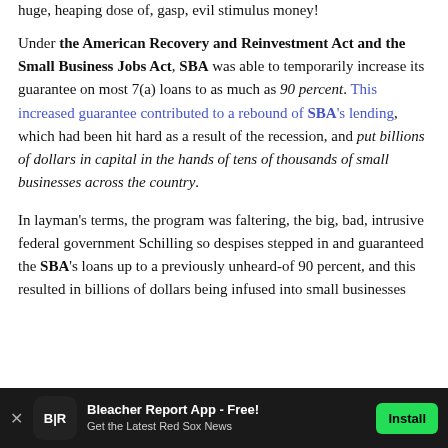huge, heaping dose of, gasp, evil stimulus money!
Under the American Recovery and Reinvestment Act and the Small Business Jobs Act, SBA was able to temporarily increase its guarantee on most 7(a) loans to as much as 90 percent. This increased guarantee contributed to a rebound of SBA's lending, which had been hit hard as a result of the recession, and put billions of dollars in capital in the hands of tens of thousands of small businesses across the country.
In layman's terms, the program was faltering, the big, bad, intrusive federal government Schilling so despises stepped in and guaranteed the SBA's loans up to a previously unheard-of 90 percent, and this resulted in billions of dollars being infused into small businesses
Bleacher Report App - Free! Get the Latest Red Sox News Install